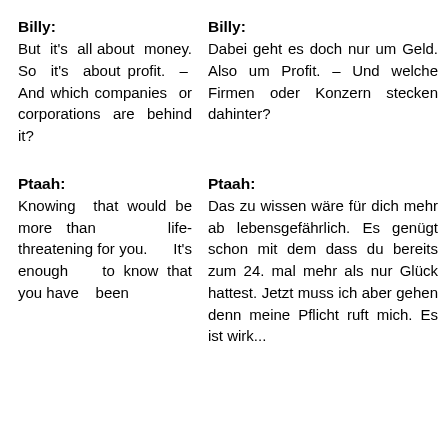Billy:
But it's all about money. So it's about profit. – And which companies or corporations are behind it?
Billy:
Dabei geht es doch nur um Geld. Also um Profit. – Und welche Firmen oder Konzern stecken dahinter?
Ptaah:
Knowing that would be more than life-threatening for you. It's enough to know that you have been
Ptaah:
Das zu wissen wäre für dich mehr als lebensgefährlich. Es genügt schon mit dem dass du bereits zum 24. mal mehr als nu Glück hattest. Jetzt muss ich aber gehe denn meine Pflicht ruft mich. Es ist wirk...